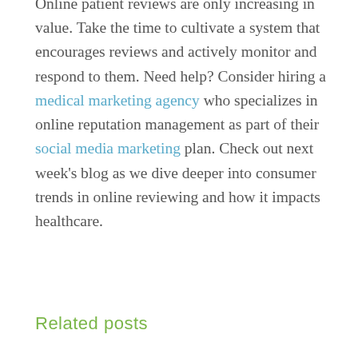Online patient reviews are only increasing in value. Take the time to cultivate a system that encourages reviews and actively monitor and respond to them. Need help? Consider hiring a medical marketing agency who specializes in online reputation management as part of their social media marketing plan. Check out next week's blog as we dive deeper into consumer trends in online reviewing and how it impacts healthcare.
Related posts